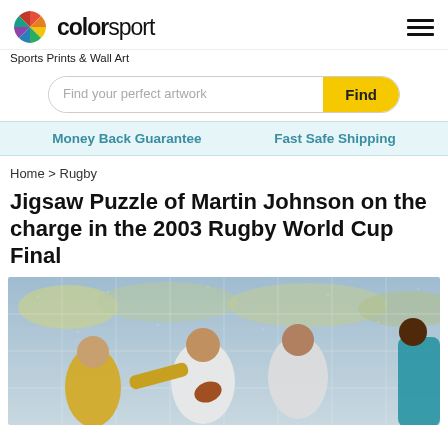colorsport — Sports Prints & Wall Art
Find your perfect artwork
Money Back Guarantee   Fast Safe Shipping
Home > Rugby
Jigsaw Puzzle of Martin Johnson on the charge in the 2003 Rugby World Cup Final
[Figure (photo): Jigsaw puzzle photo of Martin Johnson carrying the ball on the charge, flanked by England players in white jerseys, against Australian defenders in gold jerseys, during the 2003 Rugby World Cup Final.]